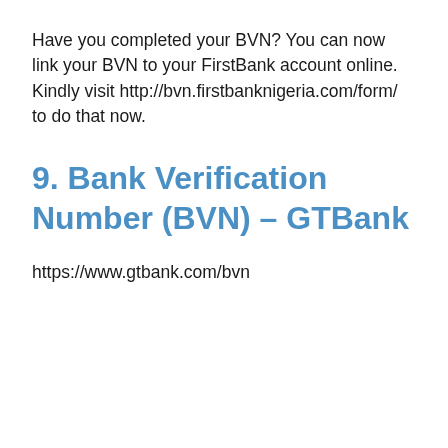Have you completed your BVN? You can now link your BVN to your FirstBank account online. Kindly visit http://bvn.firstbanknigeria.com/form/ to do that now.
9. Bank Verification Number (BVN) – GTBank
https://www.gtbank.com/bvn